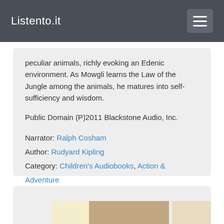Listento.it
peculiar animals, richly evoking an Edenic environment. As Mowgli learns the Law of the Jungle among the animals, he matures into self-sufficiency and wisdom.

Public Domain (P)2011 Blackstone Audio, Inc.

Narrator: Ralph Cosham
Author: Rudyard Kipling
Category: Children's Audiobooks, Action & Adventure
Length: 6 hrs and 18 mins

Available on Audible
[Figure (photo): Partial sepia-toned photograph of a person, shown at the bottom of the page]